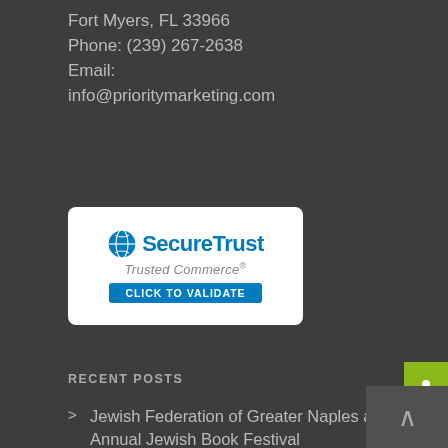Fort Myers, FL 33966
Phone: (239) 267-2638
Email:
info@prioritymarketing.com
[Figure (logo): SecureTrust Trusted Commerce badge - blue and white badge with globe icon, text 'SecureTrust', 'Trusted Commerce', and 'CLICK TO VALIDATE']
RECENT POSTS
RECENT TWEETS
Jewish Federation of Greater Naples announces the 8th Annual Jewish Book Festival
Greater Fort Myers Chamber announces brewery